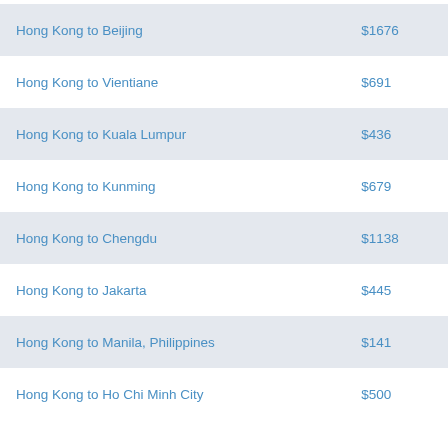| Route | Price |
| --- | --- |
| Hong Kong to Beijing | $1676 |
| Hong Kong to Vientiane | $691 |
| Hong Kong to Kuala Lumpur | $436 |
| Hong Kong to Kunming | $679 |
| Hong Kong to Chengdu | $1138 |
| Hong Kong to Jakarta | $445 |
| Hong Kong to Manila, Philippines | $141 |
| Hong Kong to Ho Chi Minh City | $500 |